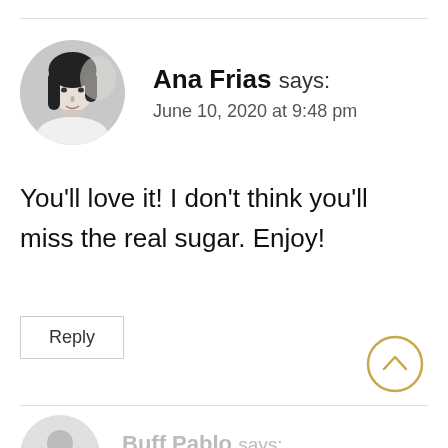[Figure (photo): Circular avatar photo of Ana Frias, black and white portrait of a young woman with dark hair]
Ana Frias says:
June 10, 2020 at 9:48 pm
You'll love it! I don't think you'll miss the real sugar. Enjoy!
Reply
[Figure (other): Scroll-to-top button: circle with upward chevron, gold/yellow color]
[Figure (photo): Circular avatar placeholder for Buff Pablo, gray silhouette]
Buff Pablo says:
April 22, 2020 at 12:36 pm